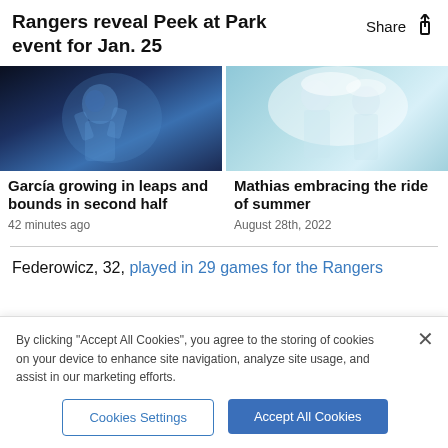Rangers reveal Peek at Park event for Jan. 25
[Figure (photo): Baseball player in blue uniform mid-swing]
[Figure (photo): Baseball player being doused with water/liquid celebration]
García growing in leaps and bounds in second half
42 minutes ago
Mathias embracing the ride of summer
August 28th, 2022
Federowicz, 32, played in 29 games for the Rangers
By clicking "Accept All Cookies", you agree to the storing of cookies on your device to enhance site navigation, analyze site usage, and assist in our marketing efforts.
Cookies Settings
Accept All Cookies